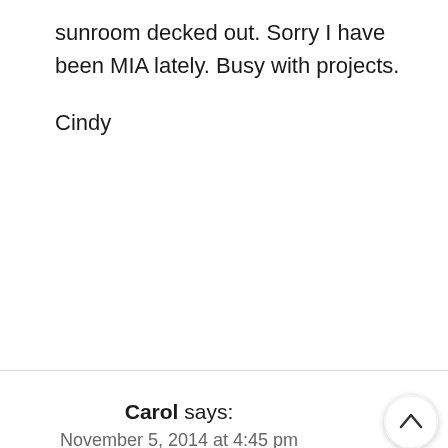sunroom decked out. Sorry I have been MIA lately. Busy with projects.
Cindy
Carol says:
November 5, 2014 at 4:45 pm
Do you think beautiful? Everything I see at your place looks so professional. Anyway, I have solar lights on the garden shed and we stapled them to boards and then screwed